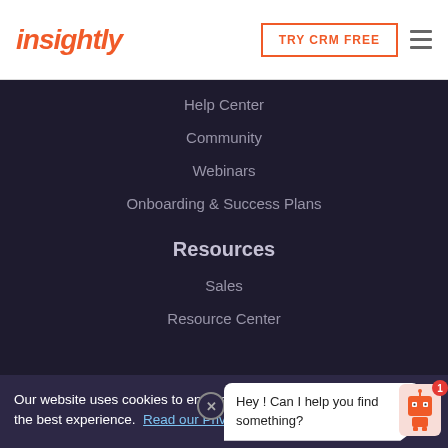insightly | TRY CRM FREE
Help Center
Community
Webinars
Onboarding & Success Plans
Resources
Sales
Resource Center
Our website uses cookies to ensure you get the best experience.  Read our Privacy Policy
Hey! Can I help you find something?